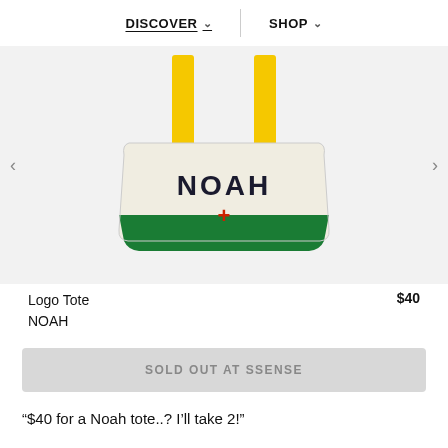DISCOVER   SHOP
[Figure (photo): A canvas tote bag with yellow straps and green bottom panel. The bag has 'NOAH' printed in dark text with a red plus sign below it on a cream/natural colored body.]
Logo Tote
NOAH
$40
SOLD OUT AT SSENSE
“$40 for a Noah tote..? I’ll take 2!”